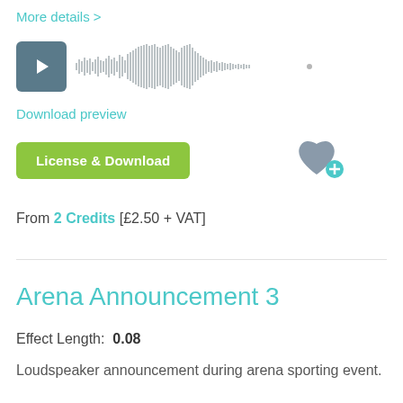More details >
[Figure (other): Audio player with play button and waveform visualization]
Download preview
License & Download
From 2 Credits [£2.50 + VAT]
Arena Announcement 3
Effect Length:  0.08
Loudspeaker announcement during arena sporting event.